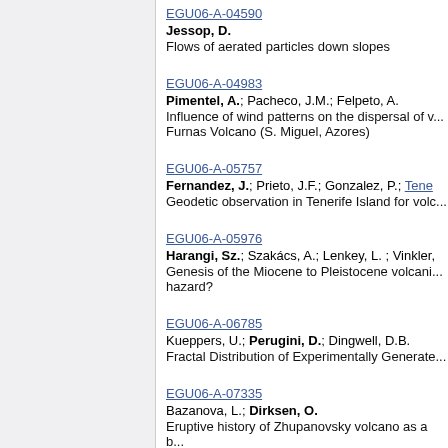EGU06-A-04590
Jessop, D.
Flows of aerated particles down slopes
EGU06-A-04983
Pimentel, A.; Pacheco, J.M.; Felpeto, A.
Influence of wind patterns on the dispersal of v... Furnas Volcano (S. Miguel, Azores)
EGU06-A-05757
Fernandez, J.; Prieto, J.F.; Gonzalez, P.; Tene...
Geodetic observation in Tenerife Island for volc...
EGU06-A-05976
Harangi, Sz.; Szakács, A.; Lenkey, L. ; Vinkler...
Genesis of the Miocene to Pleistocene volcani... hazard?
EGU06-A-06785
Kueppers, U.; Perugini, D.; Dingwell, D.B.
Fractal Distribution of Experimentally Generate...
EGU06-A-07335
Bazanova, L.; Dirksen, O.
Eruptive history of Zhupanovsky volcano as a b...
EGU06-A-07483
Pérez, W.; Freundt, A.; Schmincke, H.-U.; Kutt...
Highly explosive eruptions from Masaya Calde...